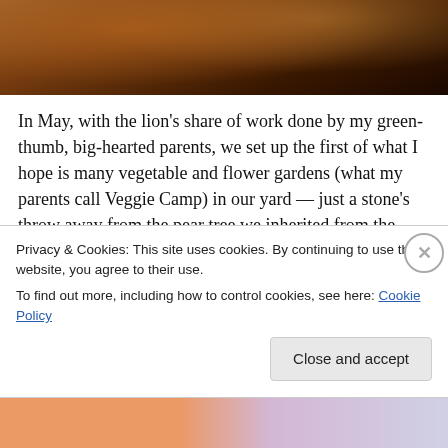[Figure (photo): Partial photo of a wooden table or furniture surface with warm brown tones, upper portion of image visible at top of page.]
In May, with the lion's share of work done by my green-thumb, big-hearted parents, we set up the first of what I hope is many vegetable and flower gardens (what my parents call Veggie Camp) in our yard — just a stone's throw away from the pear tree we inherited from the previous owner.  We unpacked our things and made an
Privacy & Cookies: This site uses cookies. By continuing to use this website, you agree to their use.
To find out more, including how to control cookies, see here: Cookie Policy
Close and accept